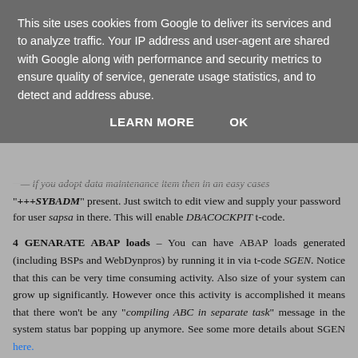This site uses cookies from Google to deliver its services and to analyze traffic. Your IP address and user-agent are shared with Google along with performance and security metrics to ensure quality of service, generate usage statistics, and to detect and address abuse.
LEARN MORE   OK
"+++SYBADM" present. Just switch to edit view and supply your password for user sapsa in there. This will enable DBACOCKPIT t-code.
4 GENARATE ABAP loads – You can have ABAP loads generated (including BSPs and WebDynpros) by running it in via t-code SGEN. Notice that this can be very time consuming activity. Also size of your system can grow up significantly. However once this activity is accomplished it means that there won't be any "compiling ABC in separate task" message in the system status bar popping up anymore. See some more details about SGEN here.
5 GENARATE TEST DATA
Data that are based on Flight data model (tables SPFLI , SFLIGHT, SBOOK) which are most of DEMO* ABAP programs can be generated via t-code BC_DATA_GEN. See details here